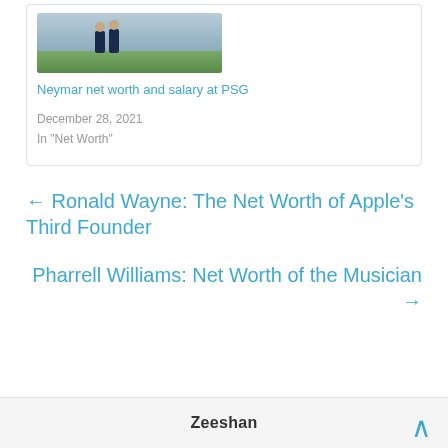[Figure (photo): Two soccer players in dark PSG uniforms on a field]
Neymar net worth and salary at PSG
December 28, 2021
In "Net Worth"
← Ronald Wayne: The Net Worth of Apple's Third Founder
Pharrell Williams: Net Worth of the Musician →
Zeeshan